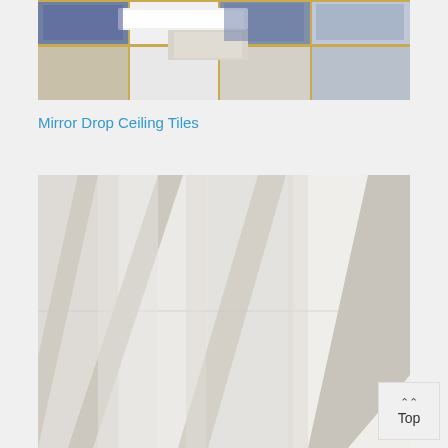[Figure (photo): Photo of a drop ceiling with mirror tiles and gold/brass grid framework, fluorescent lighting visible, taken from below looking up]
Mirror Drop Ceiling Tiles
[Figure (photo): Close-up photo of white textured ceiling tiles installed in a drop ceiling grid, showing diagonal beams/battens over the tiles, creating a fan-like pattern]